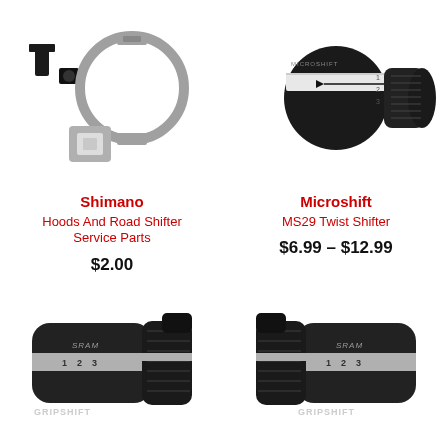[Figure (photo): Shimano hoods and road shifter service parts - screws, clamp ring, and washer components]
Shimano
Hoods And Road Shifter Service Parts
$2.00
[Figure (photo): Microshift MS29 Twist Shifter - black twist grip shifter with indicator window]
Microshift
MS29 Twist Shifter
$6.99 – $12.99
[Figure (photo): SRAM Gripshift twist shifter - left side, black with silver band and GRIPSHIFT branding]
[Figure (photo): SRAM Gripshift twist shifter - right side, black with silver band and GRIPSHIFT branding]